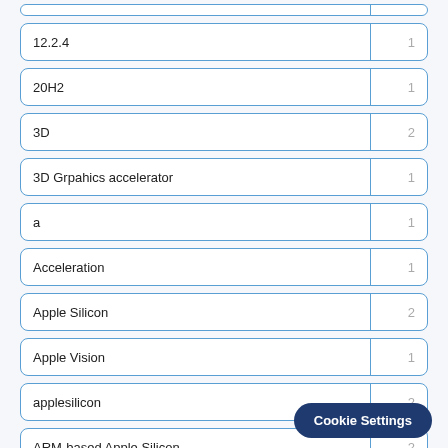12.2.4 | 1
20H2 | 1
3D | 2
3D Grpahics accelerator | 1
a | 1
Acceleration | 1
Apple Silicon | 2
Apple Vision | 1
applesilicon | 2
ARM-based Apple Silicon | 2
backup
Cookie Settings